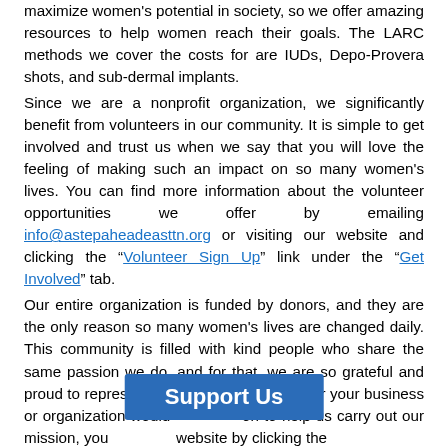maximize women's potential in society, so we offer amazing resources to help women reach their goals. The LARC methods we cover the costs for are IUDs, Depo-Provera shots, and sub-dermal implants.
Since we are a nonprofit organization, we significantly benefit from volunteers in our community. It is simple to get involved and trust us when we say that you will love the feeling of making such an impact on so many women's lives. You can find more information about the volunteer opportunities we offer by emailing info@astepaheadeasttn.org or visiting our website and clicking the "Volunteer Sign Up" link under the "Get Involved" tab.
Our entire organization is funded by donors, and they are the only reason so many women's lives are changed daily. This community is filled with kind people who share the same passion we do, and for that, we are so grateful and proud to represent East Tennessee. If you or your business or organization would on to help us carry out our mission, you website by clicking the
[Figure (other): Blue 'Support Us' button overlay]